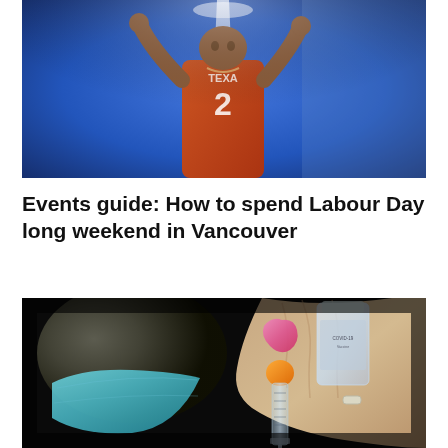[Figure (photo): A performer on stage wearing an orange Texas Longhorns jersey with arms raised, performing under a bright white spotlight against a blue background.]
Events guide: How to spend Labour Day long weekend in Vancouver
[Figure (photo): A healthcare worker wearing a blue surgical mask holds a vaccine vial and syringe with a pink stopper and orange cap, preparing a COVID-19 vaccine dose.]